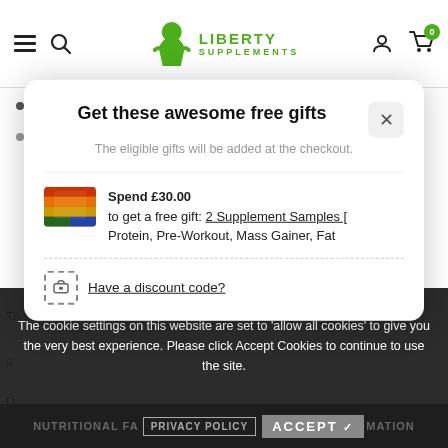[Figure (logo): Liberty Supplements logo with green muscular figure and green text]
Hydrolysed whey protein isolate (Optipep®)
Hydrolysed casein (PeptoPro®)
Get these awesome free gifts
The eligible gifts will be added at the checkout.
Spend £30.00 to get a free gift: 2 Supplement Samples [ Protein, Pre-Workout, Mass Gainer, Fat
Have a discount code?
The cookie settings on this website are set to 'allow all cookies' to give you the very best experience. Please click Accept Cookies to continue to use the site.
NUTRITIONAL FA  PRIVACY POLICY  ACCEPT ✓  MATION